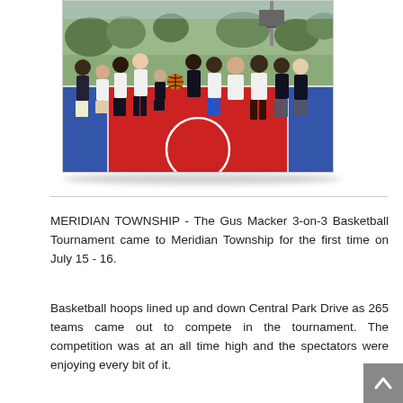[Figure (photo): Group photo of approximately 11 people standing on a red and blue outdoor basketball court, with basketball hoops and trees visible in the background. Several people are wearing white or black t-shirts. One person in the center is holding a basketball.]
MERIDIAN TOWNSHIP - The Gus Macker 3-on-3 Basketball Tournament came to Meridian Township for the first time on July 15 - 16.
Basketball hoops lined up and down Central Park Drive as 265 teams came out to compete in the tournament. The competition was at an all time high and the spectators were enjoying every bit of it.